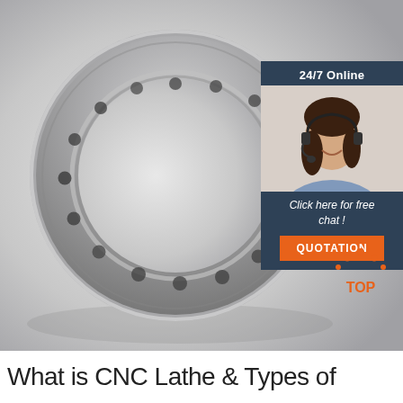[Figure (photo): A large polished steel ring/flange with evenly spaced bolt holes, photographed on a light gray background. A customer service overlay box is in the upper right corner showing a smiling woman with a headset, with text '24/7 Online', 'Click here for free chat !', and an orange 'QUOTATION' button. A 'TOP' logo icon is in the lower right of the photo.]
What is CNC Lathe & Types of